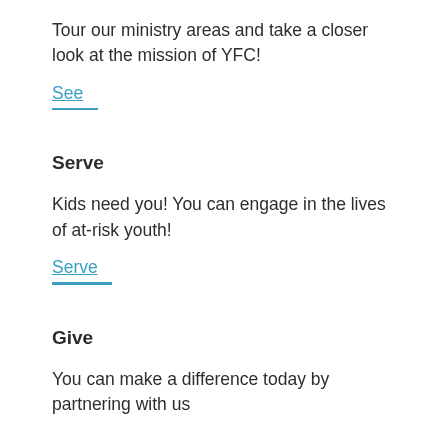Tour our ministry areas and take a closer look at the mission of YFC!
See
Serve
Kids need you! You can engage in the lives of at-risk youth!
Serve
Give
You can make a difference today by partnering with us